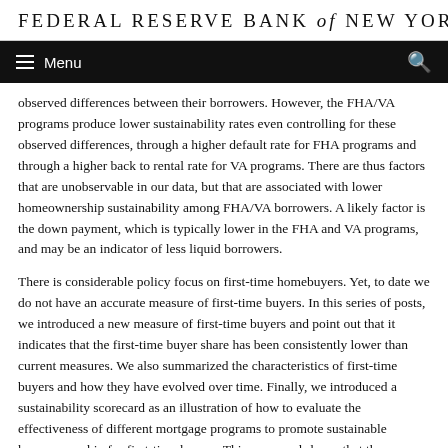FEDERAL RESERVE BANK of NEW YORK
observed differences between their borrowers. However, the FHA/VA programs produce lower sustainability rates even controlling for these observed differences, through a higher default rate for FHA programs and through a higher back to rental rate for VA programs. There are thus factors that are unobservable in our data, but that are associated with lower homeownership sustainability among FHA/VA borrowers. A likely factor is the down payment, which is typically lower in the FHA and VA programs, and may be an indicator of less liquid borrowers.
There is considerable policy focus on first-time homebuyers. Yet, to date we do not have an accurate measure of first-time buyers. In this series of posts, we introduced a new measure of first-time buyers and point out that it indicates that the first-time buyer share has been consistently lower than current measures. We also summarized the characteristics of first-time buyers and how they have evolved over time. Finally, we introduced a sustainability scorecard as an illustration of how to evaluate the effectiveness of different mortgage programs to promote sustainable homeownership for first-time buyers. This scorecard shows that the FHA/VA programs, on average, produce lower sustainability rates even controlling for differences in observed borrower characteristics.